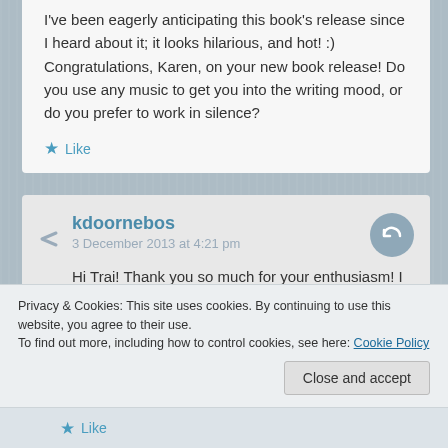I've been eagerly anticipating this book's release since I heard about it; it looks hilarious, and hot! :) Congratulations, Karen, on your new book release! Do you use any music to get you into the writing mood, or do you prefer to work in silence?
Like
kdoornebos
3 December 2013 at 4:21 pm
Hi Trai! Thank you so much for your enthusiasm! I usually listen to classical music as I'm writing, but I have a playlist of alternative/pop songs on
Privacy & Cookies: This site uses cookies. By continuing to use this website, you agree to their use.
To find out more, including how to control cookies, see here: Cookie Policy
Close and accept
Like